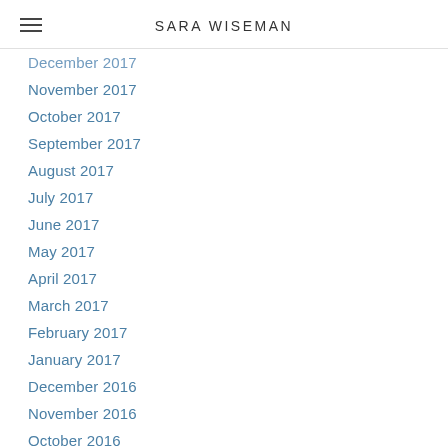SARA WISEMAN
December 2017
November 2017
October 2017
September 2017
August 2017
July 2017
June 2017
May 2017
April 2017
March 2017
February 2017
January 2017
December 2016
November 2016
October 2016
September 2016
August 2016
July 2016